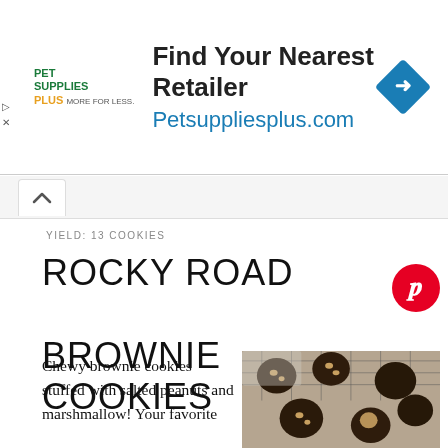[Figure (screenshot): Pet Supplies Plus advertisement banner: logo on left, headline 'Find Your Nearest Retailer' and URL 'Petsuppliesplus.com' in center, blue diamond direction icon on right]
YIELD: 13 COOKIES
ROCKY ROAD BROWNIE COOKIES
Chewy brownie cookies stuffed with salted peanuts and marshmallow! Your favorite
[Figure (photo): Photo of dark chocolate rocky road brownie cookies on a wire cooling rack with salted peanuts on top, on a light gray surface with a cloth napkin]